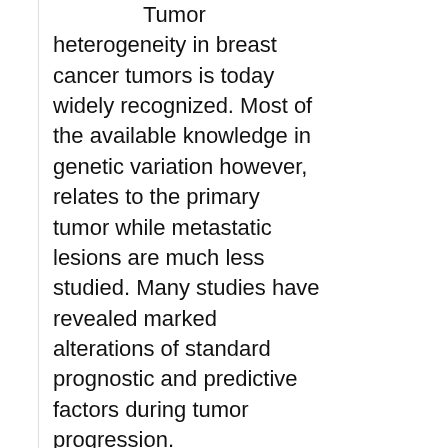Tumor heterogeneity in breast cancer tumors is today widely recognized. Most of the available knowledge in genetic variation however, relates to the primary tumor while metastatic lesions are much less studied. Many studies have revealed marked alterations of standard prognostic and predictive factors during tumor progression. Characterization of paired primary- and metastatic tissues should therefore be fundamental in order to understand mechanisms of tumor progression, clonal relationship to tumor evolution as well as the therapeutic aspects of